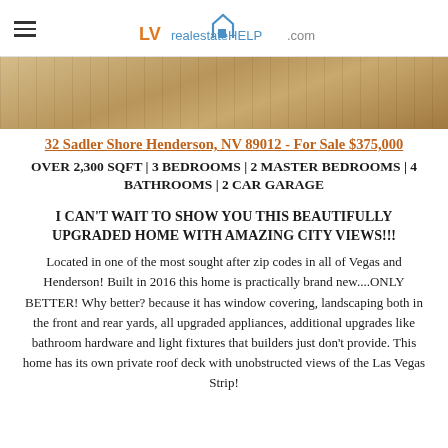LVrealestateHELP.com
[Figure (photo): Interior photo strip showing upholstered furniture with tan/beige tones]
32 Sadler Shore Henderson, NV 89012 - For Sale $375,000
OVER 2,300 SQFT | 3 BEDROOMS | 2 MASTER BEDROOMS | 4 BATHROOMS | 2 CAR GARAGE
I CAN'T WAIT TO SHOW YOU THIS BEAUTIFULLY UPGRADED HOME WITH AMAZING CITY VIEWS!!! Located in one of the most sought after zip codes in all of Vegas and Henderson! Built in 2016 this home is practically brand new....ONLY BETTER! Why better? because it has window covering, landscaping both in the front and rear yards, all upgraded appliances, additional upgrades like bathroom hardware and light fixtures that builders just don't provide. This home has its own private roof deck with unobstructed views of the Las Vegas Strip!